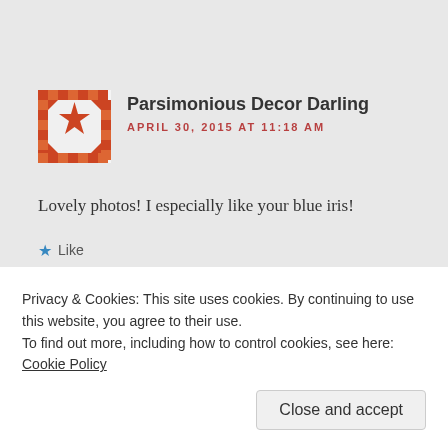[Figure (illustration): Avatar image with geometric/quilt pattern in red and white with a star motif]
Parsimonious Decor Darling
APRIL 30, 2015 AT 11:18 AM
Lovely photos! I especially like your blue iris!
★ Like
Privacy & Cookies: This site uses cookies. By continuing to use this website, you agree to their use.
To find out more, including how to control cookies, see here: Cookie Policy
Close and accept